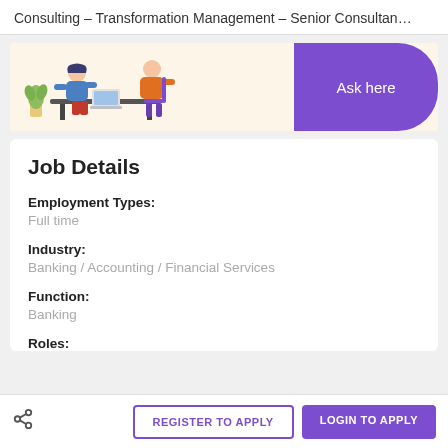Consulting – Transformation Management – Senior Consultan…
[Figure (illustration): Banner illustration showing two people sitting at a desk with a laptop, with a purple 'Ask here' button on the right side.]
Job Details
Employment Types:
Full time
Industry:
Banking / Accounting / Financial Services
Function:
Banking
Roles: